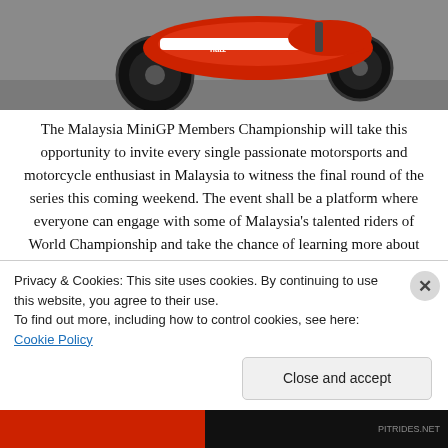[Figure (photo): A red and white MiniGP motorcycle on a race track surface, photographed from the side/front angle showing the front wheel lifted slightly.]
The Malaysia MiniGP Members Championship will take this opportunity to invite every single passionate motorsports and motorcycle enthusiast in Malaysia to witness the final round of the series this coming weekend. The event shall be a platform where everyone can engage with some of Malaysia's talented riders of World Championship and take the chance of learning more about the series. For more info on the championship, feel free to visit http://pitrides.net and tune in to their YOUTUBE CONTENT partner channel for some of the season's action.
Privacy & Cookies: This site uses cookies. By continuing to use this website, you agree to their use.
To find out more, including how to control cookies, see here: Cookie Policy
Close and accept